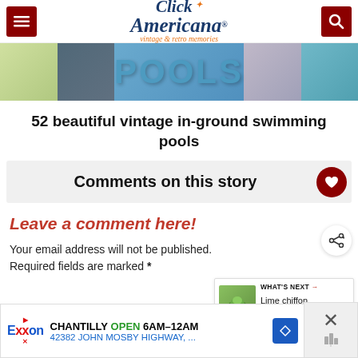Click Americana — vintage & retro memories
[Figure (photo): Collage of vintage swimming pool images with large 'POOLS' text overlay]
52 beautiful vintage in-ground swimming pools
Comments on this story
Leave a comment here!
Your email address will not be published. Required fields are marked *
[Figure (infographic): WHAT'S NEXT → Lime chiffon dessert with...]
[Figure (infographic): Exxon advertisement: CHANTILLY OPEN 6AM–12AM 42382 JOHN MOSBY HIGHWAY,...]